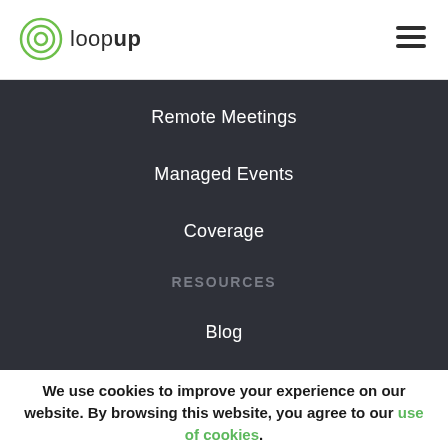loopup
Remote Meetings
Managed Events
Coverage
RESOURCES
Blog
We use cookies to improve your experience on our website. By browsing this website, you agree to our use of cookies.
Hide this message